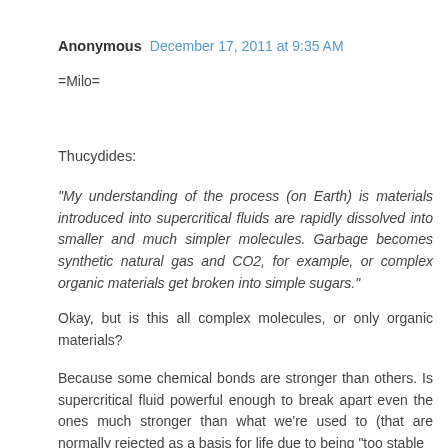Anonymous  December 17, 2011 at 9:35 AM
=Milo=
Thucydides:
"My understanding of the process (on Earth) is materials introduced into supercritical fluids are rapidly dissolved into smaller and much simpler molecules. Garbage becomes synthetic natural gas and CO2, for example, or complex organic materials get broken into simple sugars."
Okay, but is this all complex molecules, or only organic materials?
Because some chemical bonds are stronger than others. Is supercritical fluid powerful enough to break apart even the ones much stronger than what we're used to (that are normally rejected as a basis for life due to being "too stable